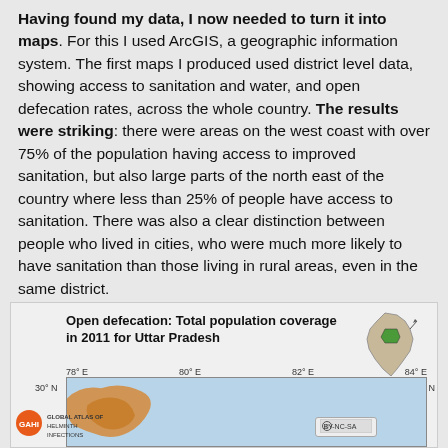Having found my data, I now needed to turn it into maps. For this I used ArcGIS, a geographic information system. The first maps I produced used district level data, showing access to sanitation and water, and open defecation rates, across the whole country. The results were striking: there were areas on the west coast with over 75% of the population having access to improved sanitation, but also large parts of the north east of the country where less than 25% of people have access to sanitation. There was also a clear distinction between people who lived in cities, who were much more likely to have sanitation than those living in rural areas, even in the same district.
[Figure (map): Map titled 'Open defecation: Total population coverage in 2011 for Uttar Pradesh' showing a geographic map with longitude markers 78°E, 80°E, 82°E, 84°E and latitude 30°N. Includes a small India inset map with Uttar Pradesh highlighted in green. GAHI Global Atlas of Helminth Infections logo at bottom left, CC BY-NC-SA license badge.]